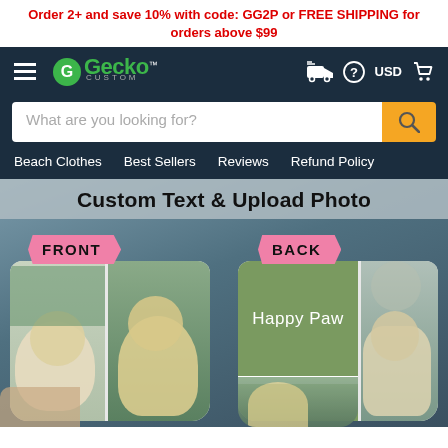Order 2+ and save 10% with code: GG2P or FREE SHIPPING for orders above $99
[Figure (screenshot): Gecko Custom website navigation bar with hamburger menu, Gecko Custom logo in green/white, shipping icon, help icon, USD currency selector, and cart icon on dark navy background]
[Figure (screenshot): Search bar with placeholder 'What are you looking for?' and orange search button with magnifying glass icon]
Beach Clothes   Best Sellers   Reviews   Refund Policy
[Figure (photo): Product hero image showing custom photo mugs with 'Custom Text & Upload Photo' title. Left mug labeled FRONT shows photos of a yellow Labrador dog. Right mug labeled BACK shows green panel with 'Happy Paw' text and dog photos. Pink ribbon labels for FRONT and BACK.]